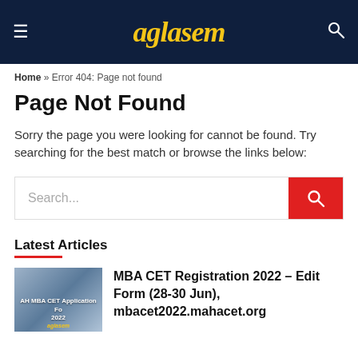aglasem
Home » Error 404: Page not found
Page Not Found
Sorry the page you were looking for cannot be found. Try searching for the best match or browse the links below:
[Figure (screenshot): Search input box with red search button]
Latest Articles
MBA CET Registration 2022 – Edit Form (28-30 Jun), mbacet2022.mahacet.org